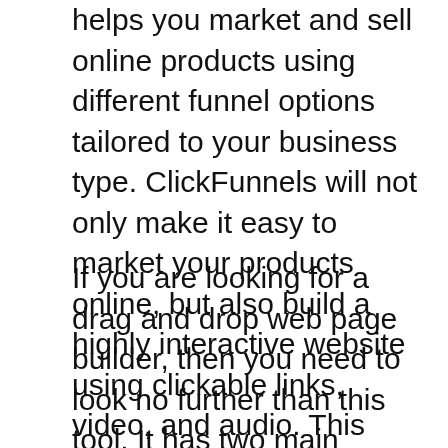helps you market and sell online products using different funnel options tailored to your business type. ClickFunnels will not only make it easy to market your products online, but also build a highly interactive website using clickable links, video, and audio. This allows you to get more from your website and convert more people into paying clients.
If you are looking for a drag and drop web page builder, then you need to look no further than this tool. It has two main features that will allow you to quickly and easily create professional-looking web pages with just a click. First, there is the “Add to Cart” button. This allows you to add any